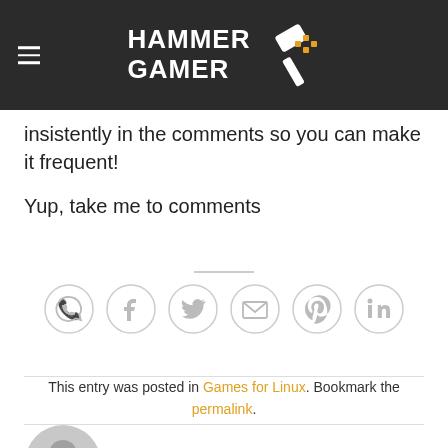HAMMER GAMER
insistently in the comments so you can make it frequent!
Yup, take me to comments
[Figure (infographic): Row of 6 social sharing icon circles: WhatsApp, Facebook, Twitter, Email, Pinterest, LinkedIn]
This entry was posted in Games for Linux. Bookmark the permalink.
[Figure (photo): Gray default user avatar circle icon]